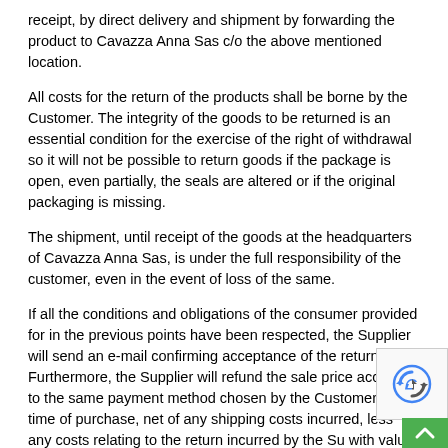receipt, by direct delivery and shipment by forwarding the product to Cavazza Anna Sas c/o the above mentioned location.
All costs for the return of the products shall be borne by the Customer. The integrity of the goods to be returned is an essential condition for the exercise of the right of withdrawal so it will not be possible to return goods if the package is open, even partially, the seals are altered or if the original packaging is missing.
The shipment, until receipt of the goods at the headquarters of Cavazza Anna Sas, is under the full responsibility of the customer, even in the event of loss of the same.
If all the conditions and obligations of the consumer provided for in the previous points have been respected, the Supplier will send an e-mail confirming acceptance of the return. Furthermore, the Supplier will refund the sale price according to the same payment method chosen by the Customer at the time of purchase, net of any shipping costs incurred, less any costs relating to the return incurred by the Su with value date equal to the thirtieth day after the date on whi Supplier became aware of the Customer's right of withdrawal.